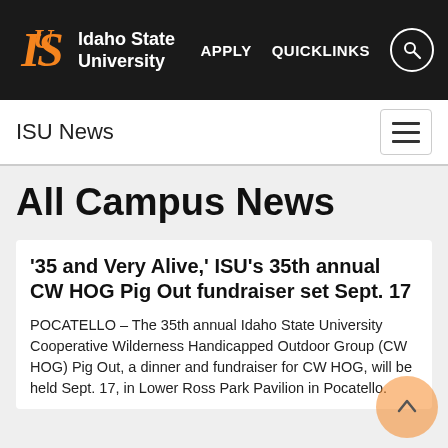Idaho State University | APPLY | QUICKLINKS
ISU News
All Campus News
’35 and Very Alive,’ ISU’s 35th annual CW HOG Pig Out fundraiser set Sept. 17
POCATELLO – The 35th annual Idaho State University Cooperative Wilderness Handicapped Outdoor Group (CW HOG) Pig Out, a dinner and fundraiser for CW HOG, will be held Sept. 17, in Lower Ross Park Pavilion in Pocatello.